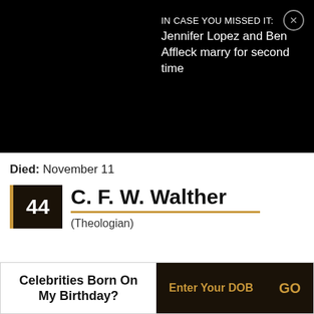[Figure (screenshot): Black notification banner overlay with text 'IN CASE YOU MISSED IT: Jennifer Lopez and Ben Affleck marry for second time' and a close (X) button in the top right corner.]
Died: November 11
44  C. F. W. Walther  (Theologian)
[Figure (photo): Black and white portrait photograph of C. F. W. Walther, an elderly man with thinning hair on top and curly hair on the sides, with a beard.]
Celebrities Born On My Birthday?  Enter Your DOB  GO